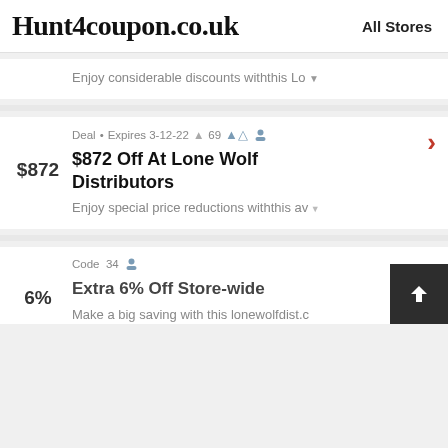Hunt4coupon.co.uk   All Stores
Enjoy considerable discounts withthis Lo
Deal • Expires 3-12-22 69
$872 Off At Lone Wolf Distributors
Enjoy special price reductions withthis av
Code 34
Extra 6% Off Store-wide
Make a big saving with this lonewolfdist.c